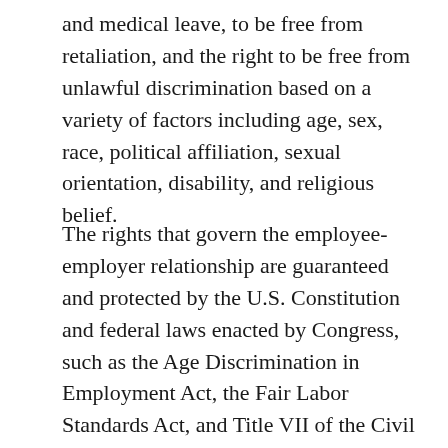and medical leave, to be free from retaliation, and the right to be free from unlawful discrimination based on a variety of factors including age, sex, race, political affiliation, sexual orientation, disability, and religious belief.
The rights that govern the employee-employer relationship are guaranteed and protected by the U.S. Constitution and federal laws enacted by Congress, such as the Age Discrimination in Employment Act, the Fair Labor Standards Act, and Title VII of the Civil Rights of Act of 1964. In addition, States, counties, and cities often enact their own employment laws that can provide even more protection than the federal laws. Moreover, as with civil rights and education law, the laws regulating the employee-employer relationship are also derived from court decisions, most notably those handed